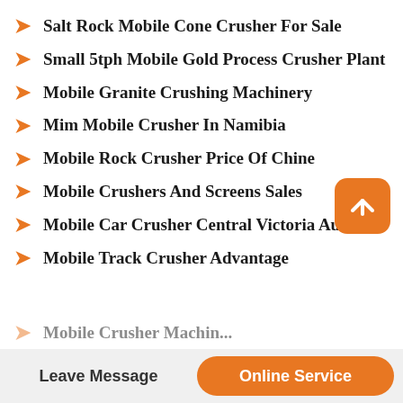Salt Rock Mobile Cone Crusher For Sale
Small 5tph Mobile Gold Process Crusher Plant
Mobile Granite Crushing Machinery
Mim Mobile Crusher In Namibia
Mobile Rock Crusher Price Of Chine
Mobile Crushers And Screens Sales
Mobile Car Crusher Central Victoria Australia
Mobile Track Crusher Advantage
Mobile Crusher Machinery (partial)
Leave Message
Online Service